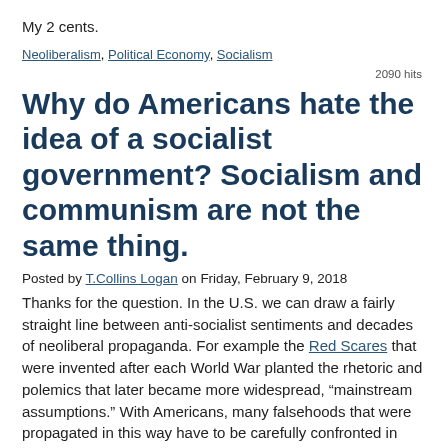My 2 cents.
Neoliberalism, Political Economy, Socialism
2090 hits
Why do Americans hate the idea of a socialist government? Socialism and communism are not the same thing.
Posted by T.Collins Logan on Friday, February 9, 2018
Thanks for the question. In the U.S. we can draw a fairly straight line between anti-socialist sentiments and decades of neoliberal propaganda. For example the Red Scares that were invented after each World War planted the rhetoric and polemics that later became more widespread, “mainstream assumptions.” With Americans, many falsehoods that were propagated in this way have to be carefully confronted in order to relieve a prejudicial